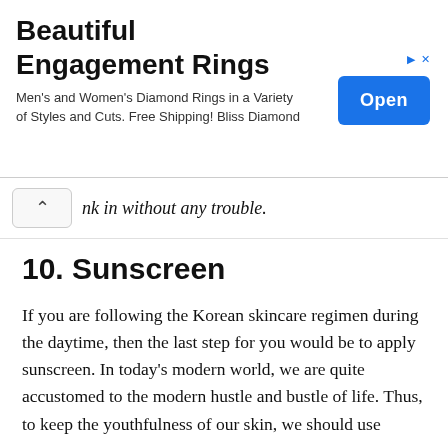[Figure (other): Advertisement banner for Beautiful Engagement Rings. Contains title 'Beautiful Engagement Rings', description text 'Men's and Women's Diamond Rings in a Variety of Styles and Cuts. Free Shipping! Bliss Diamond', and an 'Open' button.]
nk in without any trouble.
10. Sunscreen
If you are following the Korean skincare regimen during the daytime, then the last step for you would be to apply sunscreen. In today's modern world, we are quite accustomed to the modern hustle and bustle of life. Thus, to keep the youthfulness of our skin, we should use sunscreen.
The main purpose of sunscreen is to create a protective shield on our skin against the harmful radiation from the sun.
That's how simple the Korean skincare routine is. With these simple steps, you are guaranteed younger, fresher,